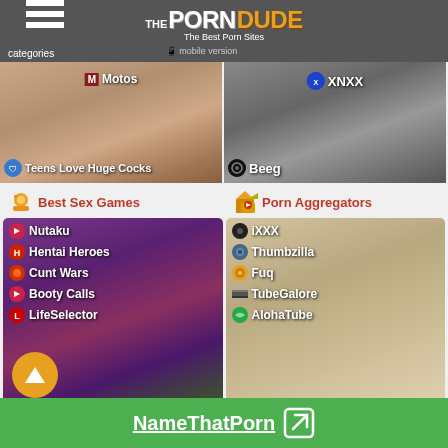The Porn Dude — The Best Porn Sites — categories — mobile version
[Figure (screenshot): Top strip showing two adult site thumbnails: left panel with 'Motos' label and 'Teens Love Huge Cocks' label; right panel with 'XNXX' label and 'Beeg' label]
Best Sex Games
Porn Aggregators
[Figure (screenshot): Best Sex Games card listing: Nutaku, Hentai Heroes, Cunt Wars, Booty Calls, LifeSelector on animated game art background]
[Figure (screenshot): Porn Aggregators card listing: iXXX, Thumbzilla, Fuq, TubeGalore, AlohaTube on photo background]
NameThatPorn